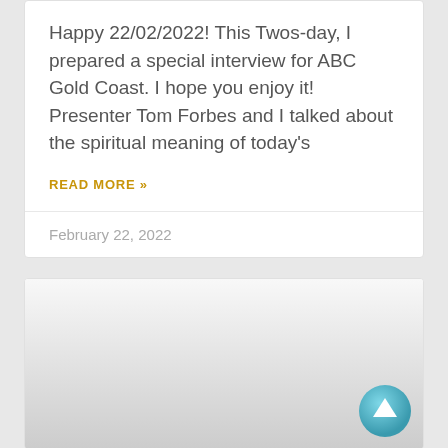Happy 22/02/2022! This Twos-day, I prepared a special interview for ABC Gold Coast. I hope you enjoy it! Presenter Tom Forbes and I talked about the spiritual meaning of today's
READ MORE »
February 22, 2022
[Figure (other): A light grey gradient card panel with a teal/cyan circular scroll-to-top button arrow in the bottom right corner]